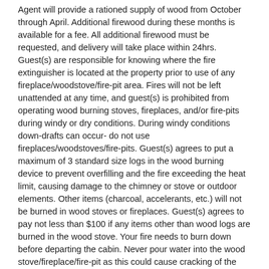Agent will provide a rationed supply of wood from October through April. Additional firewood during these months is available for a fee. All additional firewood must be requested, and delivery will take place within 24hrs. Guest(s) are responsible for knowing where the fire extinguisher is located at the property prior to use of any fireplace/woodstove/fire-pit area. Fires will not be left unattended at any time, and guest(s) is prohibited from operating wood burning stoves, fireplaces, and/or fire-pits during windy or dry conditions. During windy conditions down-drafts can occur- do not use fireplaces/woodstoves/fire-pits. Guest(s) agrees to put a maximum of 3 standard size logs in the wood burning device to prevent overfilling and the fire exceeding the heat limit, causing damage to the chimney or stove or outdoor elements. Other items (charcoal, accelerants, etc.) will not be burned in wood stoves or fireplaces. Guest(s) agrees to pay not less than $100 if any items other than wood logs are burned in the wood stove. Your fire needs to burn down before departing the cabin. Never pour water into the wood stove/fireplace/fire-pit as this could cause cracking of the device, ruin the unit and you will be financially responsible for repairs and/or replacement. Do not remove hot ashes/coals to the trash or exterior. All firewood refuse should remain in fireplace/woodstove/fire-pit. Wood Supply is checked just prior to every arrival. Fires at no time are permitted to be left unattended. NO OPEN FIRES OR HAND BUILT FIRE-PITS ARE PERMITTED, AT ANY TIME. Open Fires will result in a fine of not